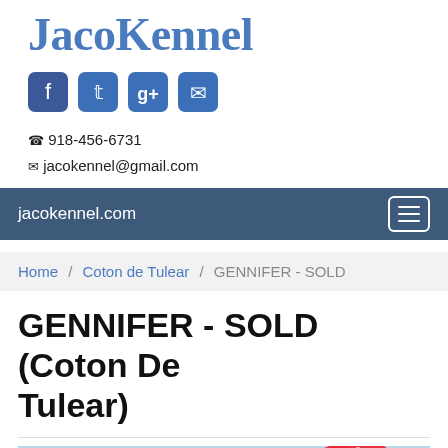JacoKennel
[Figure (other): Social media icons: Facebook, Twitter, Google+, Email]
☎ 918-456-6731
✉ jacokennel@gmail.com
jacokennel.com
Home / Coton de Tulear / GENNIFER - SOLD
GENNIFER - SOLD (Coton De Tulear)
[Figure (photo): Photo of a small dog (Coton de Tulear) with a large red polka-dot bow on its head, against a light blue floral background]